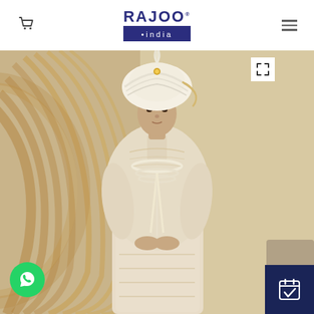[Figure (logo): Rajoo India brand logo with cart icon and hamburger menu on white header bar]
[Figure (photo): A man dressed in an ornate cream/ivory embroidered sherwani wedding outfit with a white turban adorned with feathers and pearl necklaces, standing against a golden/beige decorative background with curved ridged pattern on the left side]